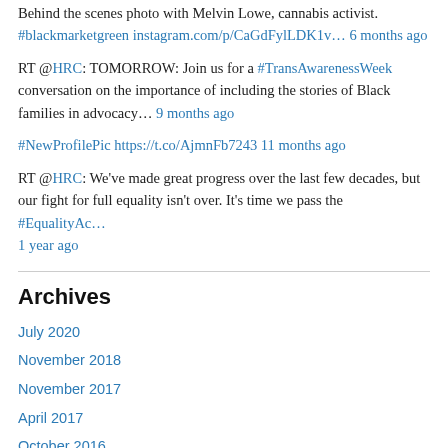Behind the scenes photo with Melvin Lowe, cannabis activist. #blackmarketgreen instagram.com/p/CaGdFylLDK1v… 6 months ago
RT @HRC: TOMORROW: Join us for a #TransAwarenessWeek conversation on the importance of including the stories of Black families in advocacy… 9 months ago
#NewProfilePic https://t.co/AjmnFb7243 11 months ago
RT @HRC: We've made great progress over the last few decades, but our fight for full equality isn't over. It's time we pass the #EqualityAc… 1 year ago
Archives
July 2020
November 2018
November 2017
April 2017
October 2016